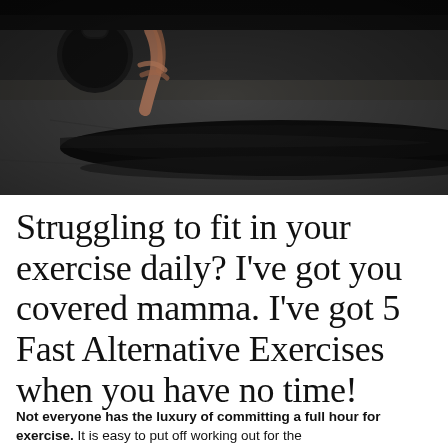[Figure (photo): Dark overhead photo of a person stretching on a black yoga mat on pavement outdoors, with a kettlebell visible. The scene is moody with strong shadows.]
Struggling to fit in your exercise daily? I've got you covered mamma. I've got 5 Fast Alternative Exercises when you have no time!
Not everyone has the luxury of committing a full hour for exercise. It is easy to put off working out for the